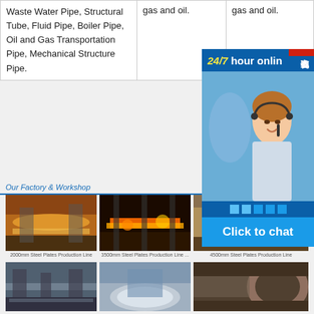|  |  |  |
| --- | --- | --- |
| Waste Water Pipe, Structural Tube, Fluid Pipe, Boiler Pipe, Oil and Gas Transportation Pipe, Mechanical Structure Pipe. | gas and oil. | gas and oil. |
Our Factory & Workshop
[Figure (photo): 2000mm Steel Plates Production Line]
2000mm Steel Plates Production Line
[Figure (photo): 3500mm Steel Plates Production Line]
3500mm Steel Plates Production Line ...
[Figure (photo): 4500mm Steel Plates Production Line]
4500mm Steel Plates Production Line
[Figure (photo): Factory workshop interior]
[Figure (photo): Steel coil production]
[Figure (photo): Large pipe manufacturing]
[Figure (screenshot): 24/7 hour online chat widget with customer service representative]